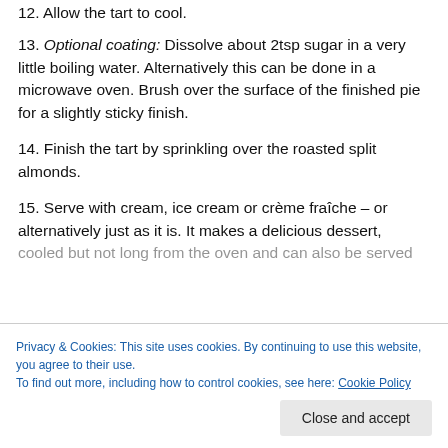12.  Allow the tart to cool.
13.  Optional coating: Dissolve about 2tsp sugar in a very little boiling water.  Alternatively this can be done in a microwave oven.  Brush over the surface of the finished pie for a slightly sticky finish.
14.  Finish the tart by sprinkling over the roasted split almonds.
15.  Serve with cream, ice cream or crème fraîche – or alternatively just as it is.  It makes a delicious dessert, cooled but not long from the oven and can also be served
can be made as individual tarts containing one per tart.
Privacy & Cookies: This site uses cookies. By continuing to use this website, you agree to their use.
To find out more, including how to control cookies, see here: Cookie Policy
Close and accept